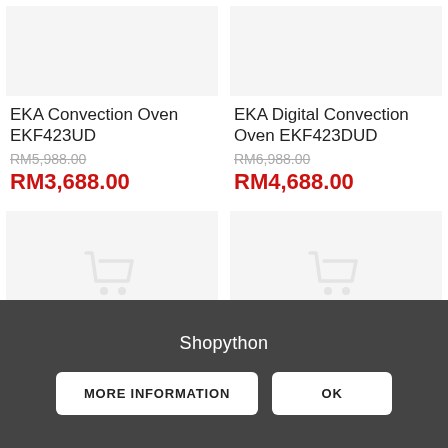[Figure (photo): Product image placeholder for EKA Convection Oven EKF423UD (light gray box, top left)]
[Figure (photo): Product image placeholder for EKA Digital Convection Oven EKF423DUD (light gray box, top right)]
EKA Convection Oven EKF423UD
RM5,988.00
RM3,688.00
EKA Digital Convection Oven EKF423DUD
RM6,988.00
RM4,688.00
[Figure (photo): Product image placeholder with shopping cart icon (light gray box, bottom left)]
[Figure (photo): Product image placeholder with shopping cart icon (light gray box, bottom right)]
Shopython
MORE INFORMATION
OK